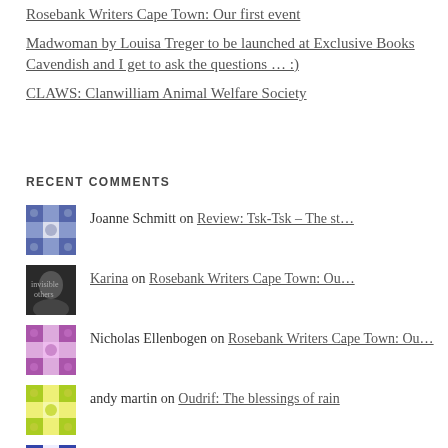Rosebank Writers Cape Town: Our first event
Madwoman by Louisa Treger to be launched at Exclusive Books Cavendish and I get to ask the questions … :)
CLAWS: Clanwilliam Animal Welfare Society
RECENT COMMENTS
Joanne Schmitt on Review: Tsk-Tsk – The st…
Karina on Rosebank Writers Cape Town: Ou…
Nicholas Ellenbogen on Rosebank Writers Cape Town: Ou…
andy martin on Oudrif: The blessings of rain
Carolynn Bruton on CLAWS: Clanwilliam Animal Welf…